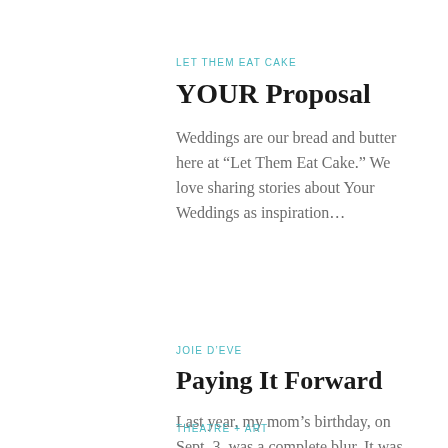LET THEM EAT CAKE
YOUR Proposal
Weddings are our bread and butter here at “Let Them Eat Cake.” We love sharing stories about Your Weddings as inspiration…
JOIE D’EVE
Paying It Forward
Last year, my mom’s birthday, on Sept. 3, was a complete blur. It was the day before what would…
THEATRE + ART